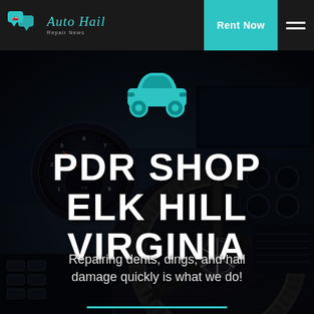Auto Hail Repair News — Rent Now
[Figure (illustration): Dark car interior background with steering wheel and dashboard, overlaid with teal car icon and white bold headline text]
PDR SHOP ELK HILL VIRGINIA
Repairing dents, dings, and hail damage quickly is what we do!